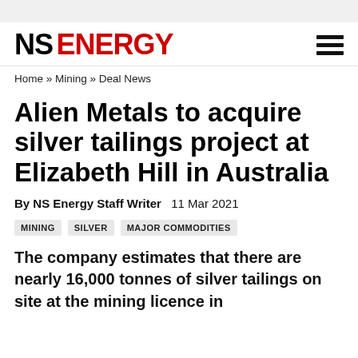NS ENERGY
Home » Mining » Deal News
Alien Metals to acquire silver tailings project at Elizabeth Hill in Australia
By NS Energy Staff Writer  11 Mar 2021
MINING
SILVER
MAJOR COMMODITIES
The company estimates that there are nearly 16,000 tonnes of silver tailings on site at the mining licence in